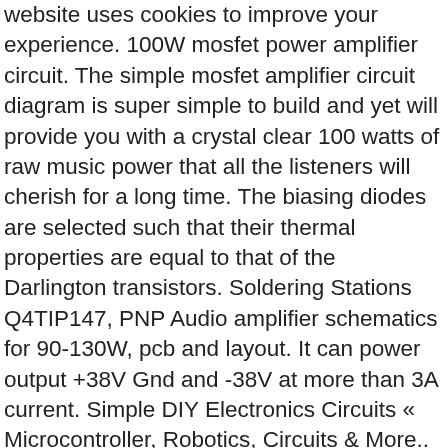website uses cookies to improve your experience. 100W mosfet power amplifier circuit. The simple mosfet amplifier circuit diagram is super simple to build and yet will provide you with a crystal clear 100 watts of raw music power that all the listeners will cherish for a long time. The biasing diodes are selected such that their thermal properties are equal to that of the Darlington transistors. Soldering Stations Q4TIP147, PNP Audio amplifier schematics for 90-130W, pcb and layout. It can power output +38V Gnd and -38V at more than 3A current. Simple DIY Electronics Circuits « Microcontroller, Robotics, Circuits & More.. says: October 12, 2015 at 4:57 pm […] Check out the full project here: Simple Amplifier Circuit [...] Reply. Robot Cat Toys There is also a huge library of effects and solid state schematics. Having all these almost ideal characteristics this amplifier is likely to become the basic building block of your future high fidelity system, or it can also become the element that will upgrade … The modified C-Class Sixteen model of the … The diodes are used to ensure minimal cross